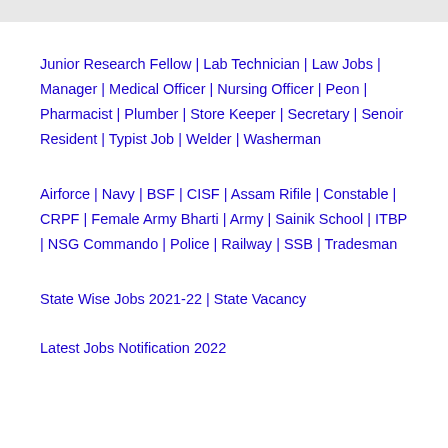Junior Research Fellow | Lab Technician | Law Jobs | Manager | Medical Officer | Nursing Officer | Peon | Pharmacist | Plumber |Store Keeper | Secretary | Senoir Resident | Typist Job | Welder | Washerman
Airforce | Navy | BSF | CISF | Assam Rifile | Constable | CRPF | Female Army Bharti | Army | Sainik School |ITBP | NSG Commando | Police | Railway | SSB | Tradesman
State Wise Jobs 2021-22 | State Vacancy
Latest Jobs Notification 2022